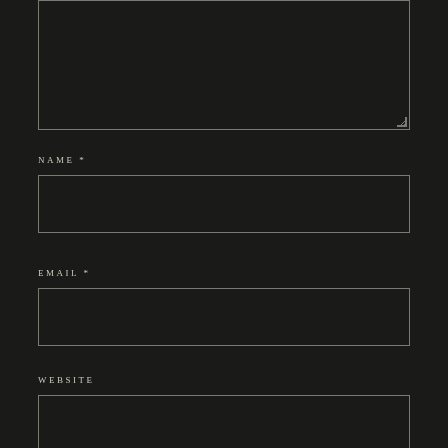[Figure (screenshot): Dark-themed web form. A large textarea at the top (partially visible, cut off), followed by three labeled input fields: NAME * (required), EMAIL * (required), and WEBSITE (optional). All fields have dark backgrounds with light gray borders on a near-black page background.]
NAME *
EMAIL *
WEBSITE